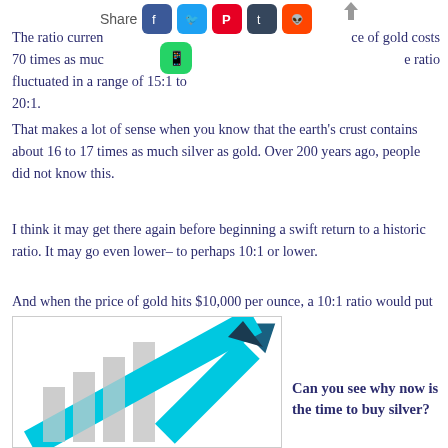[Figure (infographic): Share bar with social media icons: Facebook (blue), Twitter (blue), Pinterest (red), Tumblr (dark), Reddit (orange), WhatsApp (green), and an upload/share arrow icon]
The ratio curren [blocked by share icons] ce of gold costs 70 times as muc [blocked] e ratio fluctuated in a range of 15:1 to 20:1.
That makes a lot of sense when you know that the earth's crust contains about 16 to 17 times as much silver as gold. Over 200 years ago, people did not know this.
I think it may get there again before beginning a swift return to a historic ratio. It may go even lower– to perhaps 10:1 or lower.
And when the price of gold hits $10,000 per ounce, a 10:1 ratio would put the price of Silver at $1000 an ounce!
[Figure (illustration): Illustration of a rising cyan/blue arrow going upward past bar chart columns, indicating rising silver price]
Can you see why now is the time to buy silver?